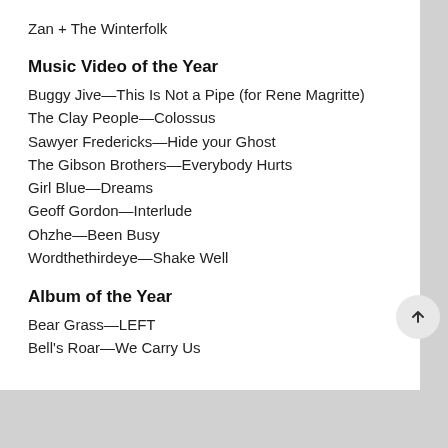Zan + The Winterfolk
Music Video of the Year
Buggy Jive—This Is Not a Pipe (for Rene Magritte)
The Clay People—Colossus
Sawyer Fredericks—Hide your Ghost
The Gibson Brothers—Everybody Hurts
Girl Blue—Dreams
Geoff Gordon—Interlude
Ohzhe—Been Busy
Wordthethirdeye—Shake Well
Album of the Year
Bear Grass—LEFT
Bell's Roar—We Carry Us